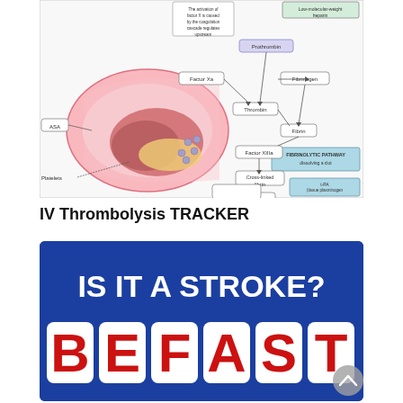[Figure (schematic): Medical diagram showing the coagulation and fibrinolytic pathway. Includes illustrations of a blood vessel with a clot (platelet aggregation), arrows and labels for: Factor X activation, ASA, Platelets, Prothrombin, Factor Xa, Thrombin, Fibrinogen, Fibrin, Factor XIIIa, Cross-linked fibrin, Fibrin split products/D-dimers, Plasmin, Plasminogen, t-PA (tissue plasminogen activator), Urokinase/streptokinase, Low-molecular-weight heparin, and FIBRINOLYTIC PATHWAY box.]
IV Thrombolysis TRACKER
[Figure (infographic): Blue background infographic showing 'IS IT A STROKE?' in large white bold text, followed by 'BEFAST' in large red bold letters displayed in white rounded rectangles.]